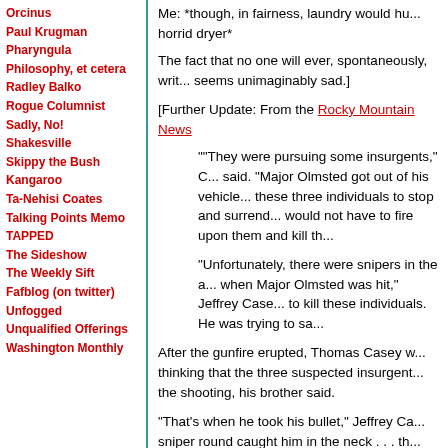Orcinus
Paul Krugman
Pharyngula
Philosophy, et cetera
Radley Balko
Rogue Columnist
Sadly, No!
Shakesville
Skippy the Bush Kangaroo
Ta-Nehisi Coates
Talking Points Memo
TAPPED
The Sideshow
The Weekly Sift
Fafblog (on twitter)
Unfogged
Unqualified Offerings
Washington Monthly
Me: *though, in fairness, laundry would hu... horrid dryer*
The fact that no one will ever, spontaneously, writ... seems unimaginably sad.]
[Further Update: From the Rocky Mountain News...
""They were pursuing some insurgents," C... said. "Major Olmsted got out of his vehicle... these three individuals to stop and surrend... would not have to fire upon them and kill th...
"Unfortunately, there were snipers in the a... when Major Olmsted was hit," Jeffrey Case... to kill these individuals. He was trying to sa...
After the gunfire erupted, Thomas Casey w... thinking that the three suspected insurgent... the shooting, his brother said.
"That's when he took his bullet," Jeffrey Ca... sniper round caught him in the neck . . . th... fluke one-in-a-million shots.""